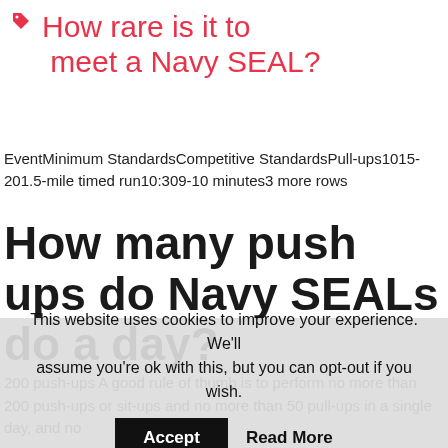How rare is it to meet a Navy SEAL?
EventMinimum StandardsCompetitive StandardsPull-ups1015-201.5-mile timed run10:309-10 minutes3 more rows
How many push ups do Navy SEALs do a day?
200 push-ups A good rule of thumb is to perform no more than 200 push-ups or sit-ups and no more than 50 pull-ups in a single day, and no
This website uses cookies to improve your experience. We'll assume you're ok with this, but you can opt-out if you wish. Accept Read More